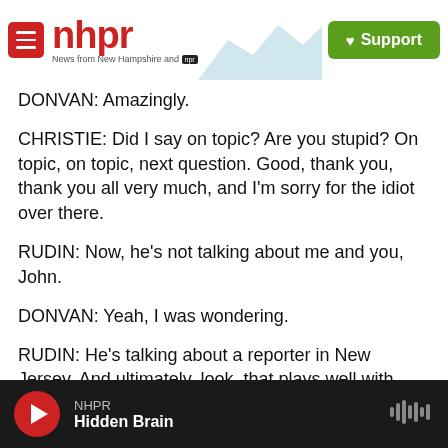nhpr — News from New Hampshire and NPR | Support
DONVAN: Amazingly.
CHRISTIE: Did I say on topic? Are you stupid? On topic, on topic, next question. Good, thank you, thank you all very much, and I'm sorry for the idiot over there.
RUDIN: Now, he's not talking about me and you, John.
DONVAN: Yeah, I was wondering.
RUDIN: He's talking about a reporter in New Jersey. And ultimately, look, that plays well with
NHPR — Hidden Brain